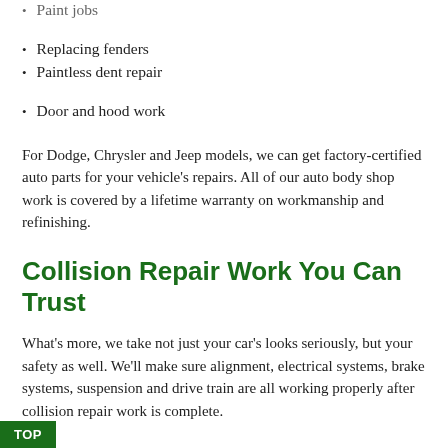Paint jobs
Replacing fenders
Paintless dent repair
Door and hood work
For Dodge, Chrysler and Jeep models, we can get factory-certified auto parts for your vehicle's repairs. All of our auto body shop work is covered by a lifetime warranty on workmanship and refinishing.
Collision Repair Work You Can Trust
What's more, we take not just your car's looks seriously, but your safety as well. We'll make sure alignment, electrical systems, brake systems, suspension and drive train are all working properly after collision repair work is complete.